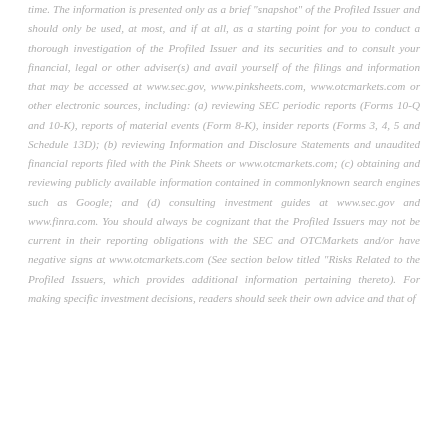time. The information is presented only as a brief "snapshot" of the Profiled Issuer and should only be used, at most, and if at all, as a starting point for you to conduct a thorough investigation of the Profiled Issuer and its securities and to consult your financial, legal or other adviser(s) and avail yourself of the filings and information that may be accessed at www.sec.gov, www.pinksheets.com, www.otcmarkets.com or other electronic sources, including: (a) reviewing SEC periodic reports (Forms 10-Q and 10-K), reports of material events (Form 8-K), insider reports (Forms 3, 4, 5 and Schedule 13D); (b) reviewing Information and Disclosure Statements and unaudited financial reports filed with the Pink Sheets or www.otcmarkets.com; (c) obtaining and reviewing publicly available information contained in commonlyknown search engines such as Google; and (d) consulting investment guides at www.sec.gov and www.finra.com. You should always be cognizant that the Profiled Issuers may not be current in their reporting obligations with the SEC and OTCMarkets and/or have negative signs at www.otcmarkets.com (See section below titled "Risks Related to the Profiled Issuers, which provides additional information pertaining thereto). For making specific investment decisions, readers should seek their own advice and that of